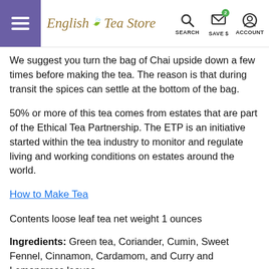English Tea Store | SEARCH | SAVE $ | ACCOUNT
We suggest you turn the bag of Chai upside down a few times before making the tea. The reason is that during transit the spices can settle at the bottom of the bag.
50% or more of this tea comes from estates that are part of the Ethical Tea Partnership. The ETP is an initiative started within the tea industry to monitor and regulate living and working conditions on estates around the world.
How to Make Tea
Contents loose leaf tea net weight 1 ounces
Ingredients: Green tea, Coriander, Cumin, Sweet Fennel, Cinnamon, Cardamom, and Curry and Lemongrass leaves
Nervous about buying a Chai made with green tea